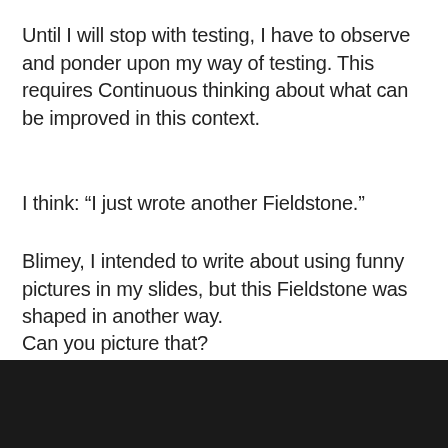Until I will stop with testing, I have to observe and ponder upon my way of testing. This requires Continuous thinking about what can be improved in this context.
I think: “I just wrote another Fieldstone.”
Blimey, I intended to write about using funny pictures in my slides, but this Fieldstone was shaped in another way.
Can you picture that?
Search